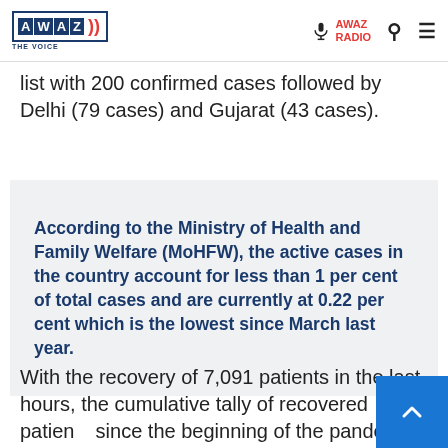AWAZ THE VOICE | AWAZ RADIO
list with 200 confirmed cases followed by Delhi (79 cases) and Gujarat (43 cases).
According to the Ministry of Health and Family Welfare (MoHFW), the active cases in the country account for less than 1 per cent of total cases and are currently at 0.22 per cent which is the lowest since March last year.
With the recovery of 7,091 patients in the last hours, the cumulative tally of recovered patients since the beginning of the pandemic has increased